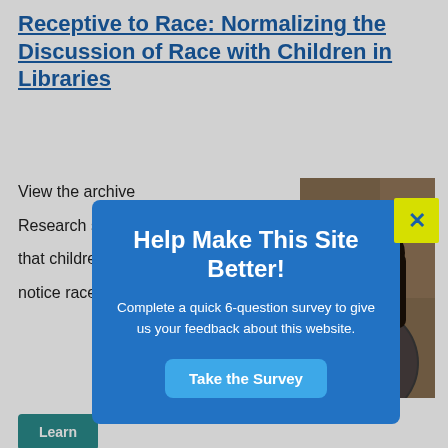Receptive to Race: Normalizing the Discussion of Race with Children in Libraries
View the archive
Research shows that children notice race at ...
[Figure (photo): Photo of a smiling woman with dark hair, indoors in front of a bookshelf background]
Learn
Categories
Session
Topic Tags
Diversity
[Figure (screenshot): Popup modal with blue background. Title: Help Make This Site Better! Body: Complete a quick 6-question survey to give us your feedback about this website. Button: Take the Survey. Close button (yellow X) in top right corner.]
Drive-In Storytime